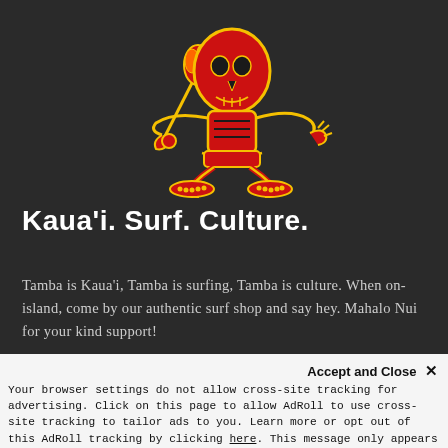[Figure (logo): Tamba surf brand logo: a stylized skeletal tiki figure in red with yellow outline, holding a flaming torch, on a dark background]
Kaua'i. Surf. Culture.
Tamba is Kaua'i, Tamba is surfing, Tamba is culture. When on-island, come by our authentic surf shop and say hey. Mahalo Nui for your kind support!
Accept and Close ✕
Your browser settings do not allow cross-site tracking for advertising. Click on this page to allow AdRoll to use cross-site tracking to tailor ads to you. Learn more or opt out of this AdRoll tracking by clicking here. This message only appears once.